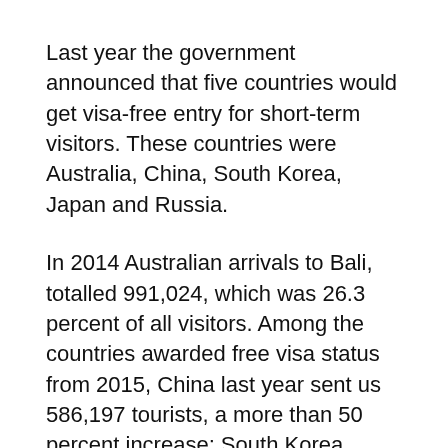Last year the government announced that five countries would get visa-free entry for short-term visitors. These countries were Australia, China, South Korea, Japan and Russia.
In 2014 Australian arrivals to Bali, totalled 991,024, which was 26.3 percent of all visitors. Among the countries awarded free visa status from 2015, China last year sent us 586,197 tourists, a more than 50 percent increase; South Korea 106,774 (to Sep.), making it our sixth largest market; Japan, once our biggest market, fell to fourth place with not much hope of any marked improvement in the short term; and Russian arrivals fell 10 percent (to Sep.) due to